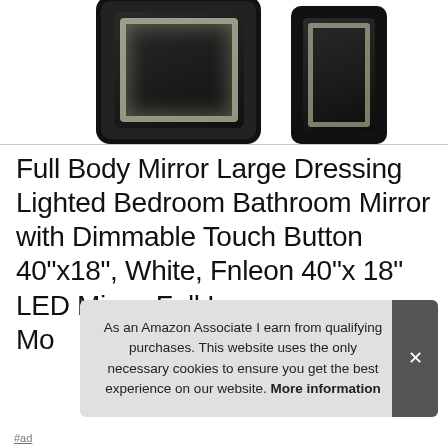[Figure (photo): Two LED-framed full body mirrors on a dark background. Left mirror is larger (portrait orientation, rounded rectangular frame) showing a bedroom scene. Right mirror is narrower and taller, also with LED border lighting.]
Full Body Mirror Large Dressing Lighted Bedroom Bathroom Mirror with Dimmable Touch Button 40"x18", White, Fnleon 40"x 18" LED Mirror Full Le... Mo...
As an Amazon Associate I earn from qualifying purchases. This website uses the only necessary cookies to ensure you get the best experience on our website. More information
#ad